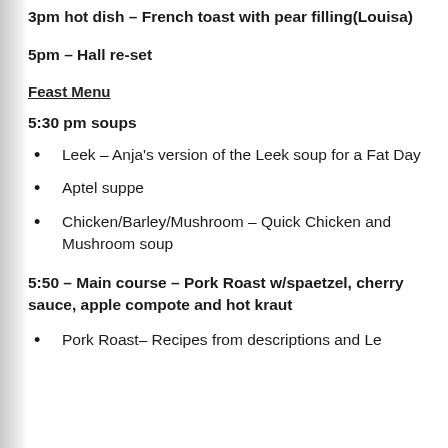3pm hot dish – French toast with pear filling(Louisa)
5pm – Hall re-set
Feast Menu
5:30 pm soups
Leek – Anja's version of the Leek soup for a Fat Day
Aptel suppe
Chicken/Barley/Mushroom – Quick Chicken and Mushroom soup
5:50 – Main course – Pork Roast w/spaetzel, cherry sauce, apple compote and hot kraut
Pork Roast– Recipes from descriptions and Le